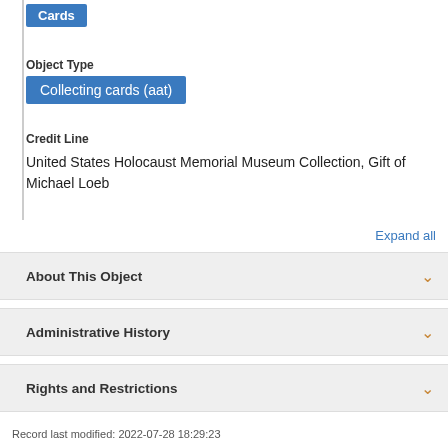Cards
Object Type
Collecting cards (aat)
Credit Line
United States Holocaust Memorial Museum Collection, Gift of Michael Loeb
Expand all
About This Object
Administrative History
Rights and Restrictions
Record last modified: 2022-07-28 18:29:23